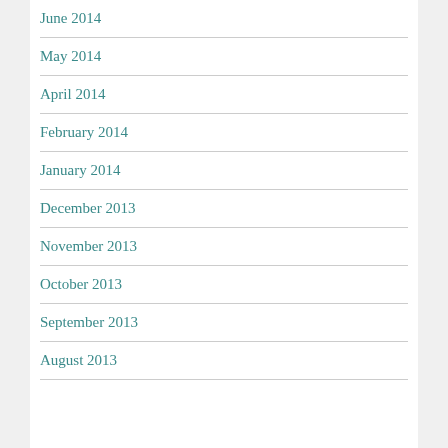June 2014
May 2014
April 2014
February 2014
January 2014
December 2013
November 2013
October 2013
September 2013
August 2013